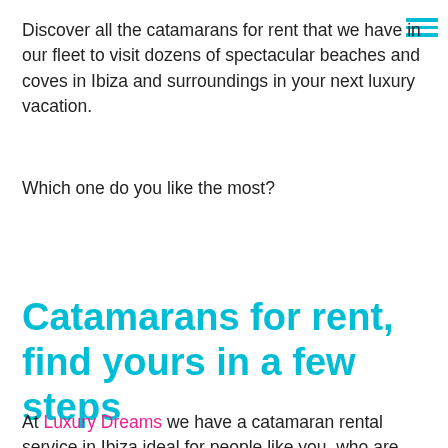Discover all the catamarans for rent that we have in our fleet to visit dozens of spectacular beaches and coves in Ibiza and surroundings in your next luxury vacation.
Which one do you like the most?
Catamarans for rent, find yours in a few steps
At Luxury Dreams we have a catamaran rental service in Ibiza ideal for people like you, who are looking for an